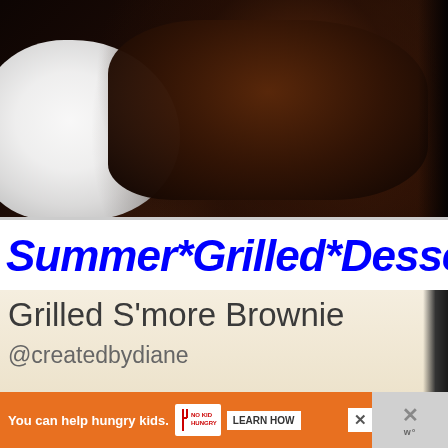[Figure (photo): Close-up photo of a dark chocolate brownie with white whipped cream on the left side, on a light background]
Summer*Grilled*Dessert
[Figure (photo): Recipe card image showing 'Grilled S'more Brownie' text on a cream/tan background with @createdbydiane attribution, and below it a close-up of toasted marshmallows on graham crackers]
You can help hungry kids. NO KID HUNGRY LEARN HOW